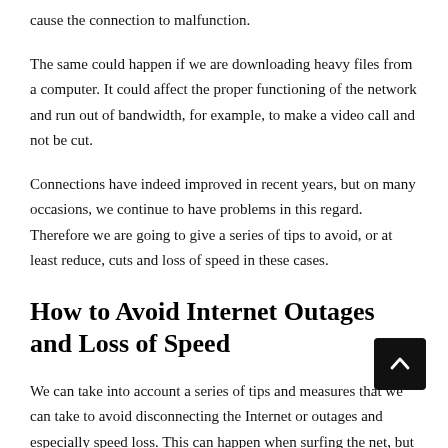cause the connection to malfunction.
The same could happen if we are downloading heavy files from a computer. It could affect the proper functioning of the network and run out of bandwidth, for example, to make a video call and not be cut.
Connections have indeed improved in recent years, but on many occasions, we continue to have problems in this regard. Therefore we are going to give a series of tips to avoid, or at least reduce, cuts and loss of speed in these cases.
How to Avoid Internet Outages and Loss of Speed
We can take into account a series of tips and measures that we can take to avoid disconnecting the Internet or outages and especially speed loss. This can happen when surfing the net, but it is